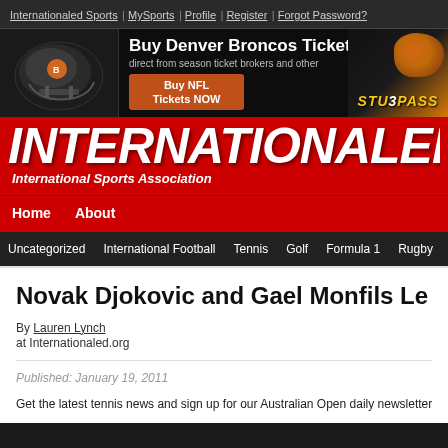Internationaled Sports | MySports | Profile | Register | Forgot Password?
[Figure (infographic): Denver Broncos ticket advertisement banner with football helmet, text 'Buy Denver Broncos Tickets direct from season ticket brokers and other', 'Buy NFL Tickets NOW' button, and StubPass logo]
INTERNATIONALED
International Sports Association
Home | About
Uncategorized | International Football | Tennis | Golf | Formula 1 | Rugby
Novak Djokovic and Gael Monfils Le
By Lauren Lynch
at Internationaled.org
Published: January 19, 2011
Get the latest tennis news and sign up for our Australian Open daily newsletter at wv